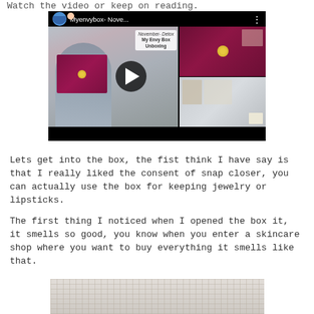Watch the video or keep on reading.
[Figure (screenshot): YouTube video thumbnail showing a woman holding a maroon box (Myenvybox November Detox unboxing), with play button overlay. Title: 'Myenvybox- Nove...' with 'November- Detox My Envy Box Unboxing' subtitle visible.]
Lets get into the box, the fist think I have say is that I really liked the consent of snap closer, you can actually use the box for keeping jewelry or lipsticks.
The first thing I noticed when I opened the box it, it smells so good, you know when you enter a skincare shop where you want to buy everything it smells like that.
[Figure (photo): Partial photo of a textured fabric or knitted surface, light beige/grey tones, cropped at the bottom of the page.]